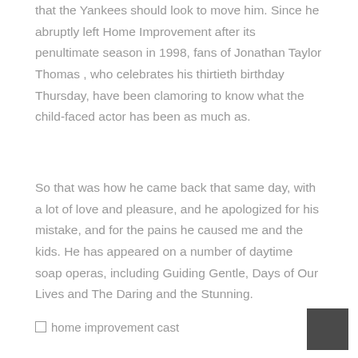that the Yankees should look to move him. Since he abruptly left Home Improvement after its penultimate season in 1998, fans of Jonathan Taylor Thomas , who celebrates his thirtieth birthday Thursday, have been clamoring to know what the child-faced actor has been as much as.
So that was how he came back that same day, with a lot of love and pleasure, and he apologized for his mistake, and for the pains he caused me and the kids. He has appeared on a number of daytime soap operas, including Guiding Gentle, Days of Our Lives and The Daring and the Stunning.
[Figure (photo): home improvement cast image placeholder with a dark thumbnail box in the bottom right]